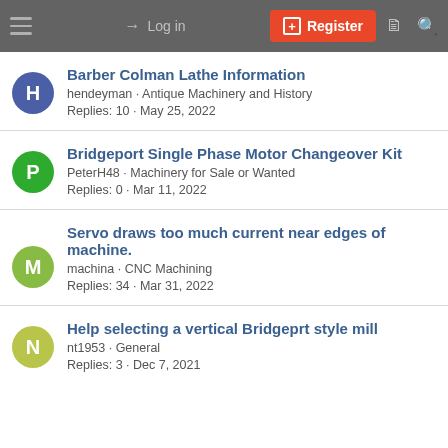Log in  Register
Barber Colman Lathe Information
hendeyman · Antique Machinery and History
Replies: 10 · May 25, 2022
Bridgeport Single Phase Motor Changeover Kit
PeterH48 · Machinery for Sale or Wanted
Replies: 0 · Mar 11, 2022
Servo draws too much current near edges of machine.
machina · CNC Machining
Replies: 34 · Mar 31, 2022
Help selecting a vertical Bridgeprt style mill
nt1953 · General
Replies: 3 · Dec 7, 2021